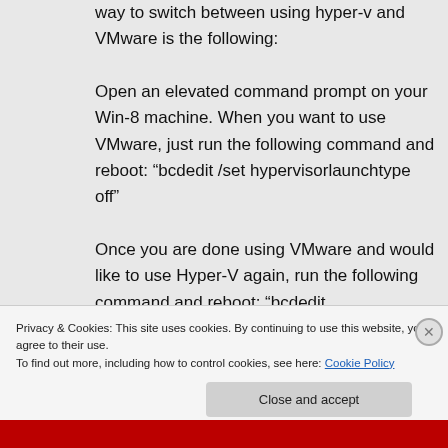way to switch between using hyper-v and VMware is the following: Open an elevated command prompt on your Win-8 machine. When you want to use VMware, just run the following command and reboot: “bcdedit /set hypervisorlaunchtype off” Once you are done using VMware and would like to use Hyper-V again, run the following command and reboot: “bcdedit /set hypervisorlaunchtype auto” That
Privacy & Cookies: This site uses cookies. By continuing to use this website, you agree to their use.
To find out more, including how to control cookies, see here: Cookie Policy